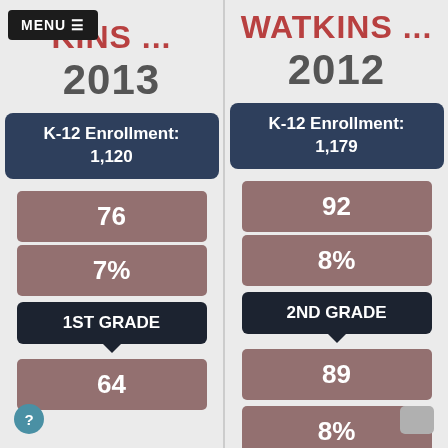MENU ≡
WATKINS ... 2013
K-12 Enrollment: 1,120
76
7%
1ST GRADE
64
WATKINS ... 2012
K-12 Enrollment: 1,179
92
8%
2ND GRADE
89
8%